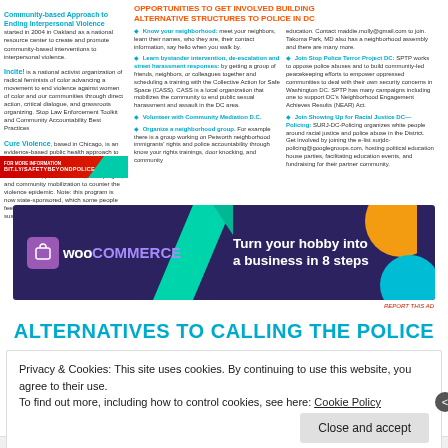Community-based Approach to Ending Interpersonal Violence started in 2004 in Oakland as a national resource center to create and promote community-based interventions to interpersonal violence.
Incite! is a national activist organization of radical feminists of color advancing a movement to end violence against women of color and our communities through direct action, critical dialogue, and grassroots organizing. Stop Law Enforcement Toolkit and Community Accountability Best Practices
Cure Violence, based in Chicago, is an evidence-based public health approach to reducing shootings and killings. They use trained street violence interrupters and outreach staff, public education campaigns, and community mobilization to counter the violence epidemic. Note: this program is now state-sponsored, which some people feel undermines its efficacy and sustainability.
OPPORTUNITIES TO GET INVOLVED BUILDING ALTERNATIVE STRUCTURES TO POLICE IN DC
Know your neighborhood: meet your neighbors, learn their names, who they are, their contact information, say hello when you walk by.
Learn bystander intervention, de-escalation and street harassment responses: by getting a group of friends, neighbors, or colleagues together and scheduling a training with the Collective Action for Safe Space (CASS). CASS is a local organization that mobilizes the community to end public sexual harassment and assault in the DC area.
Volunteer with Community Mediation D.C.
Organize a neighborhood group. For example there is a group working on Petworth neighborhood immigrants' rights and police accountability through know your rights trainings, door knocking, and community education. Contact maddie.molly@gmail.com to join. Takoma Park, MD also has a neighborhood assembly and there are many more.
Join Stop Police Terror Project DC: SPTP works to oppose police abuses and to build community-led peacekeeping efforts to empower oppressed communities to deal with their own security concerns in Washington DC. SPTP has many campaigns including one to support DC's Neighborhood Engagement Achieves Results (NEAR) Act.
Join Showing Up for Racial Justice DC—Policing: SURJ-DC-Policing organizes white people around racial justice and police abuse in the District. Get involved by joining the e-list surjdc-policing@googlegroups.com, hosting political education house parties, facilitating education events, and fundraising for their partner community.
[Figure (advertisement): WooCommerce ad banner: dark purple background with teal triangle, orange circle, blue circle decorations. Text: Turn your hobby into a business in 8 steps]
REPORT THIS AD
ALTERNATIVES TO CALLING THE POLICE
Privacy & Cookies: This site uses cookies. By continuing to use this website, you agree to their use.
To find out more, including how to control cookies, see here: Cookie Policy
REPORT THIS AD